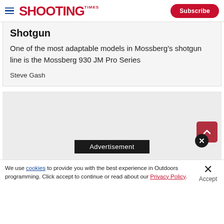SHOOTING TIMES | Subscribe
Shotgun
One of the most adaptable models in Mossberg's shotgun line is the Mossberg 930 JM Pro Series
Steve Gash
[Figure (other): Advertisement placeholder area with grey background]
Advertisement
We use cookies to provide you with the best experience in Outdoors programming. Click accept to continue or read about our Privacy Policy.